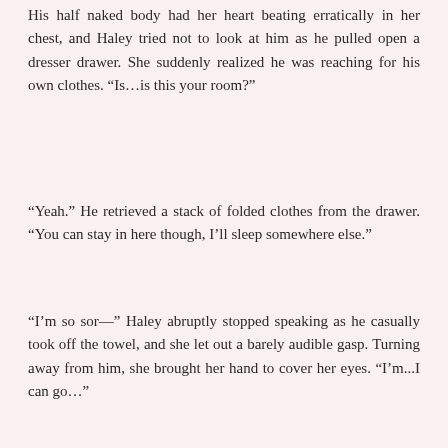His half naked body had her heart beating erratically in her chest, and Haley tried not to look at him as he pulled open a dresser drawer. She suddenly realized he was reaching for his own clothes. “Is…is this your room?”
“Yeah.” He retrieved a stack of folded clothes from the drawer. “You can stay in here though, I’ll sleep somewhere else.”
“I’m so sor—” Haley abruptly stopped speaking as he casually took off the towel, and she let out a barely audible gasp. Turning away from him, she brought her hand to cover her eyes. “I’m...I can go…”